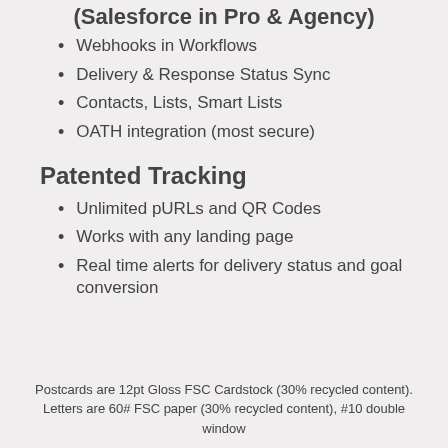(Salesforce in Pro & Agency)
Webhooks in Workflows
Delivery & Response Status Sync
Contacts, Lists, Smart Lists
OATH integration (most secure)
Patented Tracking
Unlimited pURLs and QR Codes
Works with any landing page
Real time alerts for delivery status and goal conversion
Postcards are 12pt Gloss FSC Cardstock (30% recycled content). Letters are 60# FSC paper (30% recycled content), #10 double window